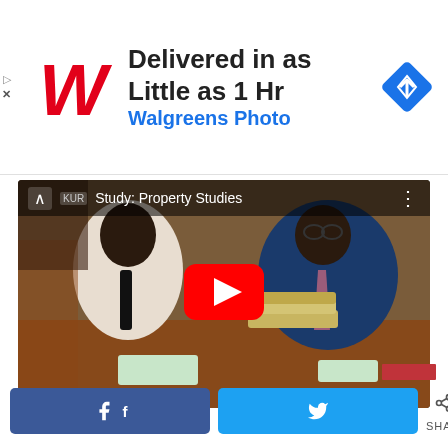[Figure (infographic): Walgreens Photo advertisement banner with logo, text 'Delivered in as Little as 1 Hr' and 'Walgreens Photo', and a blue diamond navigation badge on the right. Small play and X icons on the left edge.]
[Figure (screenshot): YouTube video thumbnail titled 'Study: Property Studies' showing two men in business attire at a desk with money. Red YouTube play button in center. Video controls bar at top with chevron and three-dot menu.]
[Figure (infographic): Social sharing bar at bottom with Facebook share button, Twitter share button, share icon with count showing '0 SHARES'. Small red rectangle above.]